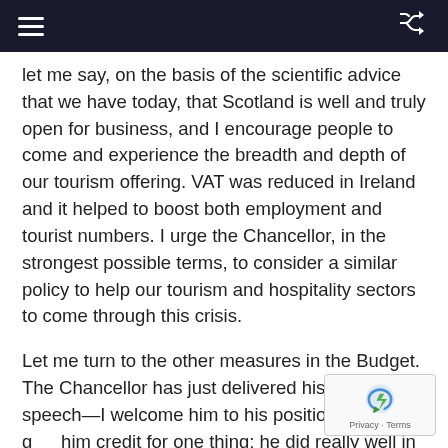Navigation bar with hamburger menu and shuffle icon
let me say, on the basis of the scientific advice that we have today, that Scotland is well and truly open for business, and I encourage people to come and experience the breadth and depth of our tourism offering. VAT was reduced in Ireland and it helped to boost both employment and tourist numbers. I urge the Chancellor, in the strongest possible terms, to consider a similar policy to help our tourism and hospitality sectors to come through this crisis.
Let me turn to the other measures in the Budget. The Chancellor has just delivered his first Budget speech—I welcome him to his position—and I give him credit for one thing: he did really well in flu reading out Dominic Cummings' handwriting. It is a